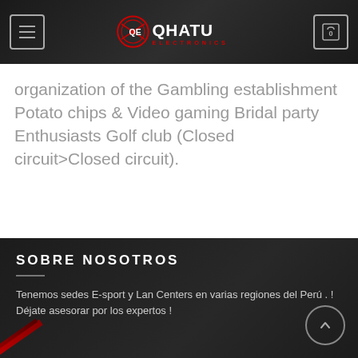QHATU ELECTRONICS - Navigation bar with menu and cart
organization of the Gambling establishment Potato chips & Video gaming Bridal party Enthusiasts Golf club (Closed circuit>Closed circuit).
SOBRE NOSOTROS
Tenemos sedes E-sport y Lan Centers en varias regiones del Perú . ! Déjate asesorar por los expertos !